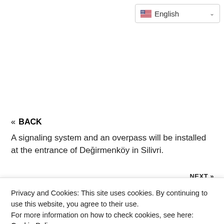English
« BACK
A signaling system and an overpass will be installed at the entrance of Değirmenköy in Silivri.
Privacy and Cookies: This site uses cookies. By continuing to use this website, you agree to their use.
For more information on how to check cookies, see here: Cookie Policy
Comments